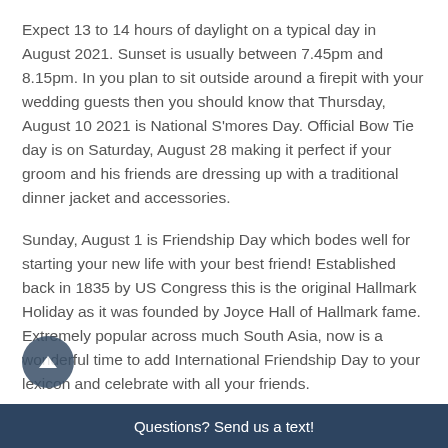Expect 13 to 14 hours of daylight on a typical day in August 2021. Sunset is usually between 7.45pm and 8.15pm. In you plan to sit outside around a firepit with your wedding guests then you should know that Thursday, August 10 2021 is National S'mores Day. Official Bow Tie day is on Saturday, August 28 making it perfect if your groom and his friends are dressing up with a traditional dinner jacket and accessories.
Sunday, August 1 is Friendship Day which bodes well for starting your new life with your best friend! Established back in 1835 by US Congress this is the original Hallmark Holiday as it was founded by Joyce Hall of Hallmark fame. Extremely popular across much South Asia, now is a wonderful time to add International Friendship Day to your lexicon and celebrate with all your friends.
Questions? Send us a text!